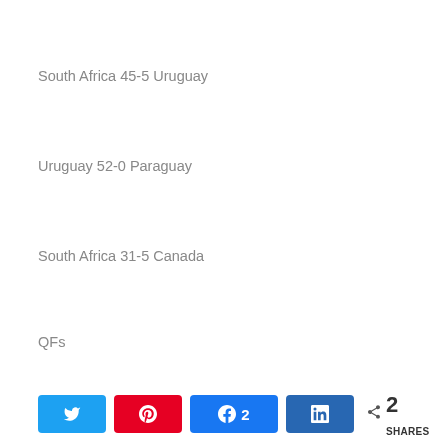South Africa 45-5 Uruguay
Uruguay 52-0 Paraguay
South Africa 31-5 Canada
QFs
Uruguay 12-19 USA Falcons
Chile 10-5 Canada
South Africa 33-7 Brazil